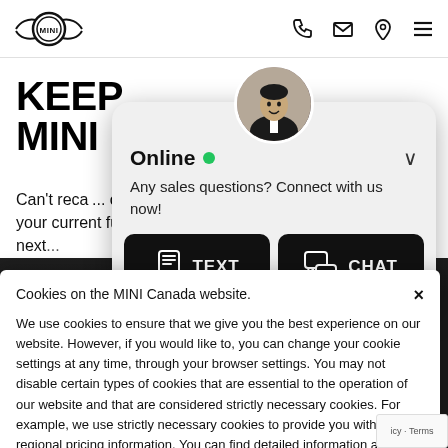[Figure (screenshot): MINI Canada website header with MINI logo on left and phone, mail, location, hamburger menu icons on right]
KEEP YOUR MINI...
Can't recall... check your current fuel level? Trying to pin down when your next...
[Figure (screenshot): Online chat popup with avatar photo, Online green dot status, text 'Any sales questions? Connect with us now!', TEXT button and CHAT button]
Cookies on the MINI Canada website.
We use cookies to ensure that we give you the best experience on our website. However, if you would like to, you can change your cookie settings at any time, through your browser settings. You may not disable certain types of cookies that are essential to the operation of our website and that are considered strictly necessary cookies. For example, we use strictly necessary cookies to provide you with regional pricing information. You can find detailed information about how cookies are used on this website by clicking here.